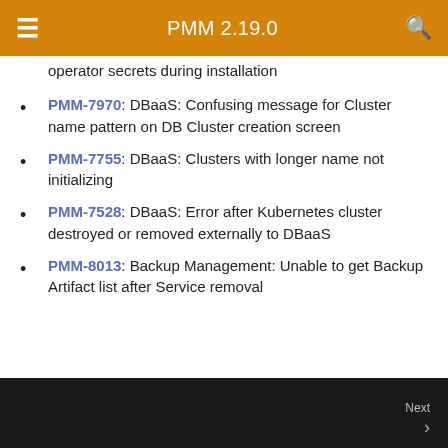PMM 2.19.0
operator secrets during installation
PMM-7970: DBaaS: Confusing message for Cluster name pattern on DB Cluster creation screen
PMM-7755: DBaaS: Clusters with longer name not initializing
PMM-7528: DBaaS: Error after Kubernetes cluster destroyed or removed externally to DBaaS
PMM-8013: Backup Management: Unable to get Backup Artifact list after Service removal
Last update: 2022-08-24
Next